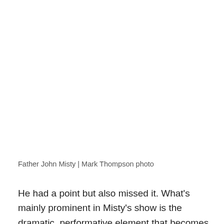[Figure (photo): Blank white image placeholder area for a photo of Father John Misty by Mark Thompson]
Father John Misty | Mark Thompson photo
He had a point but also missed it. What’s mainly prominent in Misty’s show is the dramatic, performative element that becomes the kernel of his point. Basically, Misty is Kenny Loggins trapped in the body of an r&b sex